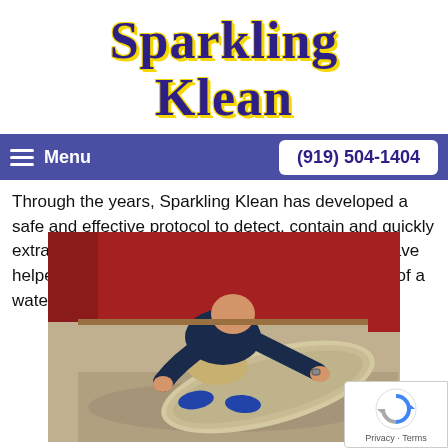[Figure (logo): Sparkling Klean company logo with navy blue decorative text and yellow outline]
Menu  (919) 504-1404
Through the years, Sparkling Klean has developed a safe and effective protocol to detect, contain and quickly extract water in Apex, NC. For over 30 years, we have helped many families recover from the devastation of a water loss event.
[Figure (photo): A person in dark shirt and khaki shorts kneeling on the floor rolling up a wet carpet in a room with red walls and wet concrete floor]
Privacy · Terms